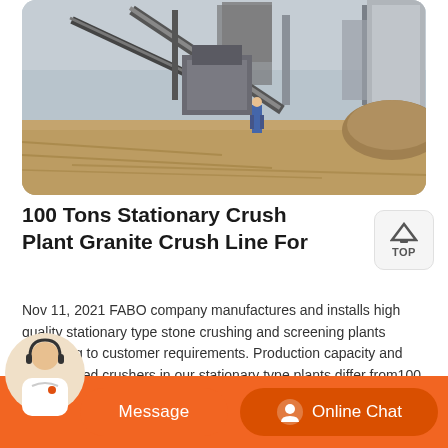[Figure (photo): Aerial/ground-level photo of a stone crushing plant site with conveyor belts, machinery, a worker in blue overalls, and piles of crushed stone/sand in a dusty outdoor setting.]
100 Tons Stationary Crush Plant Granite Crush Line For
Nov 11, 2021 FABO company manufactures and installs high quality stationary type stone crushing and screening plants according to customer requirements. Production capacity and type of used crushers in our stationary type plants differ from100 to 1000 tons per hour. 100-180 TPH Crushing and Screening Plant-Rock Feeding Bunker-Vibrating Grizzly Feeder